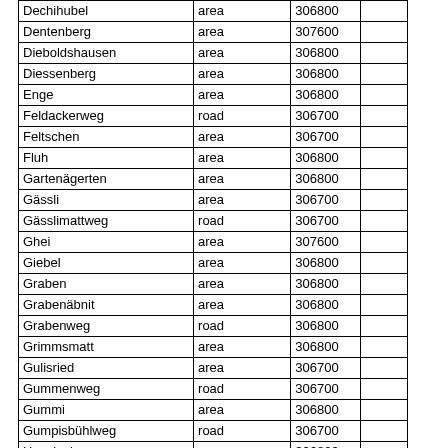| Dechihubel | area | 306800 |  |
| Dentenberg | area | 307600 |  |
| Dieboldshausen | area | 306800 |  |
| Diessenberg | area | 306800 |  |
| Enge | area | 306800 |  |
| Feldackerweg | road | 306700 |  |
| Feltschen | area | 306700 |  |
| Fluh | area | 306800 |  |
| Gartenägerten | area | 306800 |  |
| Gässli | area | 306700 |  |
| Gässlimattweg | road | 306700 |  |
| Ghei | area | 307600 |  |
| Giebel | area | 306800 |  |
| Graben | area | 306800 |  |
| Grabenäbnit | area | 306800 |  |
| Grabenweg | road | 306800 |  |
| Grimmsmatt | area | 306800 |  |
| Gulisried | area | 306700 |  |
| Gummenweg | road | 306700 |  |
| Gummi | area | 306800 |  |
| Gumpisbühlweg | road | 306700 |  |
| Haselacker | area | 306800 |  |
| Heistrich | area | 306800 |  |
| Heistrichmoos | area | 306800 |  |
| Herti | area | 306800 |  |
| Hohliebeweg | road | 306700 |  |